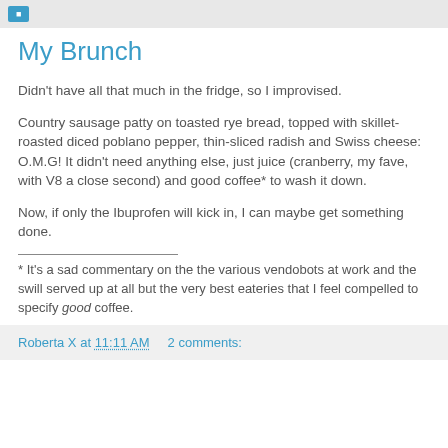My Brunch
Didn't have all that much in the fridge, so I improvised.
Country sausage patty on toasted rye bread, topped with skillet-roasted diced poblano pepper, thin-sliced radish and Swiss cheese: O.M.G! It didn't need anything else, just juice (cranberry, my fave, with V8 a close second) and good coffee* to wash it down.
Now, if only the Ibuprofen will kick in, I can maybe get something done.
* It's a sad commentary on the the various vendobots at work and the swill served up at all but the very best eateries that I feel compelled to specify good coffee.
Roberta X at 11:11 AM   2 comments: